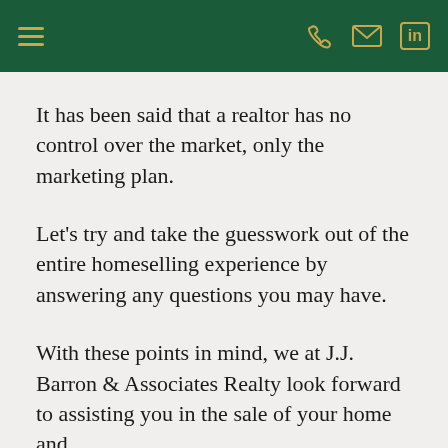≡  [phone] [email] in
It has been said that a realtor has no control over the market, only the marketing plan.
Let's try and take the guesswork out of the entire homeselling experience by answering any questions you may have.
With these points in mind, we at J.J. Barron & Associates Realty look forward to assisting you in the sale of your home and